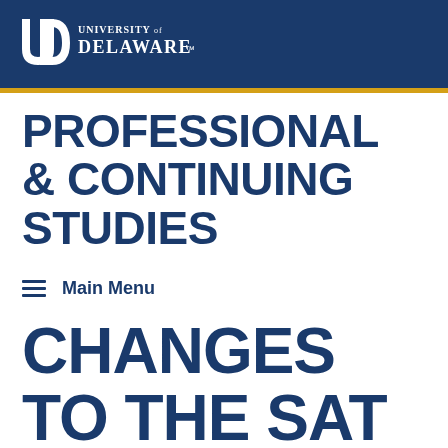[Figure (logo): University of Delaware logo — interlocking UD letters with 'University of Delaware' wordmark in white on dark blue background]
PROFESSIONAL & CONTINUING STUDIES
≡  Main Menu
CHANGES TO THE SAT IN 2016